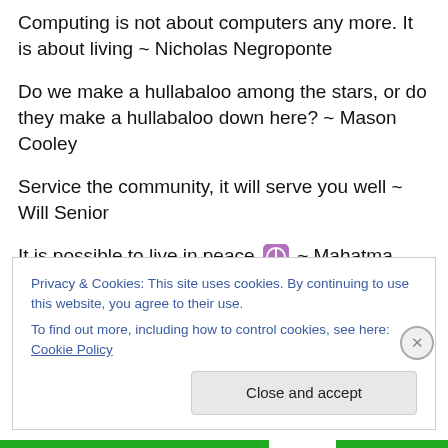Computing is not about computers any more. It is about living ~ Nicholas Negroponte
Do we make a hullabaloo among the stars, or do they make a hullabaloo down here? ~ Mason Cooley
Service the community, it will serve you well ~ Will Senior
It is possible to live in peace ☮ ~ Mahatma Gandhi
There are joys which long to be ours ~ Henry Ward Beecher
Privacy & Cookies: This site uses cookies. By continuing to use this website, you agree to their use. To find out more, including how to control cookies, see here: Cookie Policy